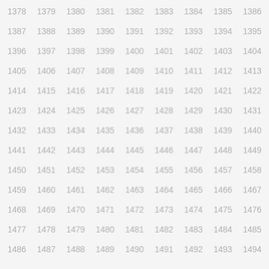| 1378 | 1379 | 1380 | 1381 | 1382 | 1383 | 1384 | 1385 | 1386 |
| 1387 | 1388 | 1389 | 1390 | 1391 | 1392 | 1393 | 1394 | 1395 |
| 1396 | 1397 | 1398 | 1399 | 1400 | 1401 | 1402 | 1403 | 1404 |
| 1405 | 1406 | 1407 | 1408 | 1409 | 1410 | 1411 | 1412 | 1413 |
| 1414 | 1415 | 1416 | 1417 | 1418 | 1419 | 1420 | 1421 | 1422 |
| 1423 | 1424 | 1425 | 1426 | 1427 | 1428 | 1429 | 1430 | 1431 |
| 1432 | 1433 | 1434 | 1435 | 1436 | 1437 | 1438 | 1439 | 1440 |
| 1441 | 1442 | 1443 | 1444 | 1445 | 1446 | 1447 | 1448 | 1449 |
| 1450 | 1451 | 1452 | 1453 | 1454 | 1455 | 1456 | 1457 | 1458 |
| 1459 | 1460 | 1461 | 1462 | 1463 | 1464 | 1465 | 1466 | 1467 |
| 1468 | 1469 | 1470 | 1471 | 1472 | 1473 | 1474 | 1475 | 1476 |
| 1477 | 1478 | 1479 | 1480 | 1481 | 1482 | 1483 | 1484 | 1485 |
| 1486 | 1487 | 1488 | 1489 | 1490 | 1491 | 1492 | 1493 | 1494 |